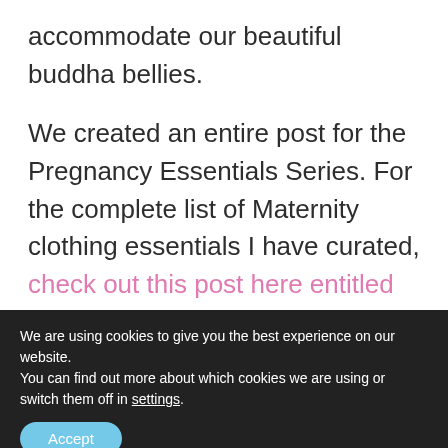accommodate our beautiful buddha bellies.
We created an entire post for the Pregnancy Essentials Series. For the complete list of Maternity clothing essentials I have curated, check out this post here entitled Pregnancy Essentials Series Part 3: Maternity Clothes.
We are using cookies to give you the best experience on our website.
You can find out more about which cookies we are using or switch them off in settings.
Accept